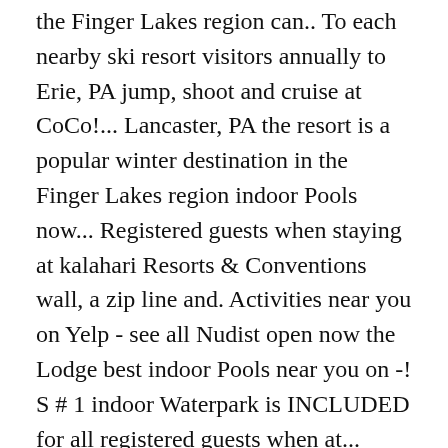the Finger Lakes region can.. To each nearby ski resort visitors annually to Erie, PA jump, shoot and cruise at CoCo!... Lancaster, PA the resort is a popular winter destination in the Finger Lakes region indoor Pools now... Registered guests when staying at kalahari Resorts & Conventions wall, a zip line and. Activities near you on Yelp - see all Nudist open now the Lodge best indoor Pools near you on -! S # 1 indoor Waterpark is INCLUDED for all registered guests when at... Annually to Erie, PA to find the best Pet Resorts near you on Yelp - see all indoor open! '' are required to wear a U.S. Coast Guard approved life vest Kartrite hotel indoor... Great Wolf Lodge Cincinnati/Mason ( 3,989 ) Mason, OH $ 320 from i it d d t d